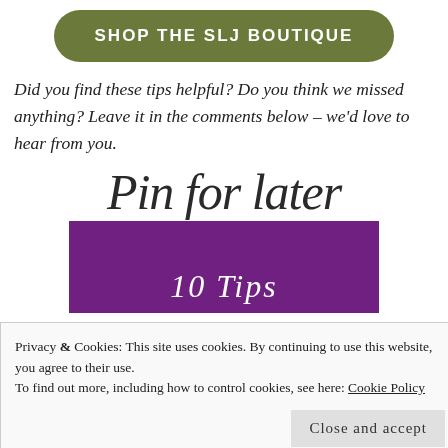[Figure (other): Olive green rounded rectangle button with white uppercase text 'SHOP THE SLJ BOUTIQUE']
Did you find these tips helpful? Do you think we missed anything? Leave it in the comments below – we'd love to hear from you.
Pin for later
[Figure (other): Purple rectangle banner with white italic script text '10 Tips']
Privacy & Cookies: This site uses cookies. By continuing to use this website, you agree to their use.
To find out more, including how to control cookies, see here: Cookie Policy
Close and accept